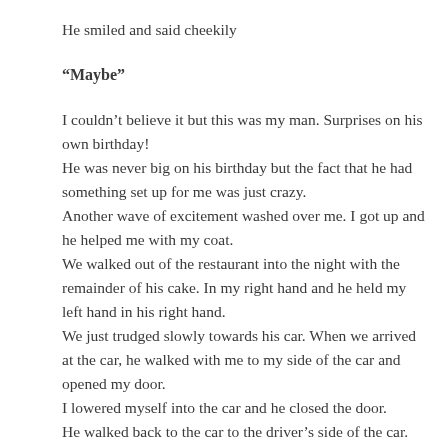He smiled and said cheekily
“Maybe”
I couldn’t believe it but this was my man. Surprises on his own birthday!
He was never big on his birthday but the fact that he had something set up for me was just crazy.
Another wave of excitement washed over me. I got up and he helped me with my coat.
We walked out of the restaurant into the night with the remainder of his cake. In my right hand and he held my left hand in his right hand.
We just trudged slowly towards his car. When we arrived at the car, he walked with me to my side of the car and opened my door.
I lowered myself into the car and he closed the door.
He walked back to the car to the driver’s side of the car.